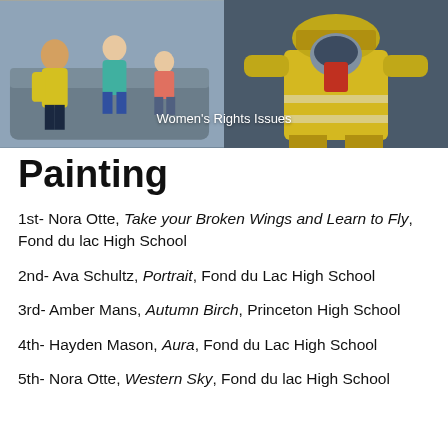[Figure (illustration): Illustrated image showing two panels: left panel with illustrated people (women/children figures) and right panel with a firefighter in yellow gear. Text overlay reads 'Women's Rights Issues'.]
Painting
1st- Nora Otte, Take your Broken Wings and Learn to Fly, Fond du lac High School
2nd- Ava Schultz, Portrait, Fond du Lac High School
3rd- Amber Mans, Autumn Birch, Princeton High School
4th- Hayden Mason, Aura, Fond du Lac High School
5th- Nora Otte, Western Sky, Fond du lac High School